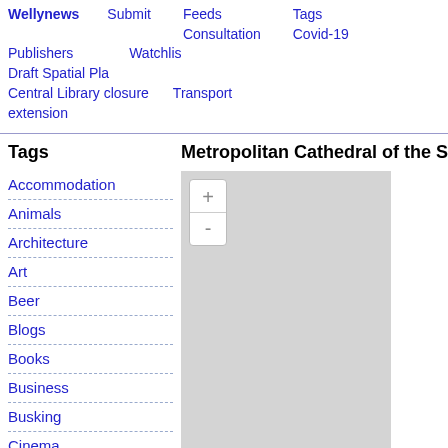Wellynews  Submit  Feeds Consultation  Tags Covid-19  Publishers  Watchlist  Draft Spatial Pla  Central Library closure extension  Transport
Tags
Accommodation
Animals
Architecture
Art
Beer
Blogs
Books
Business
Busking
Cinema
City Guides
Community Groups
Conservation
Metropolitan Cathedral of the S
[Figure (map): Interactive map with zoom in (+) and zoom out (-) controls, grey background representing a city map area.]